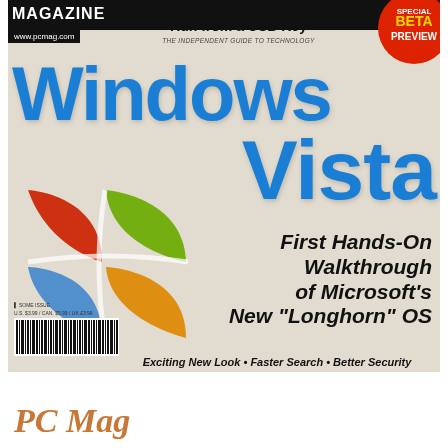[Figure (illustration): PC Magazine cover featuring Windows Vista. Top bar with MAGAZINE logo and www.pcmag.com URL on black background. Headline '22 Programs You Can Run from a USB Key'. Special Beta Preview badge in top right corner. Large blue 'Windows Vista' title text. Windows XP/Vista logo (four-panel colored flag: red, green, blue, orange). Text 'First Hands-On Walkthrough of Microsoft's New Longhorn OS'. Tagline 'Exciting New Look • Faster Search • Better Security'. Barcode at bottom left.]
PC Mag